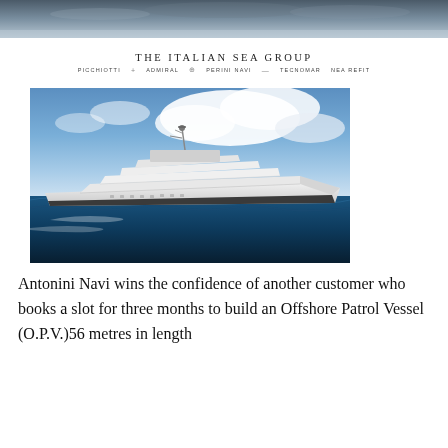[Figure (photo): Dark atmospheric header image, appears to be a sky or seascape background, partially visible at top of page]
[Figure (logo): The Italian Sea Group logo with navigation links: PICCHIOTTI, ADMIRAL, PERINI NAVI, TECNOMAR, NEA REFIT]
[Figure (photo): Large luxury superyacht (white, multi-deck) sailing on open blue sea with dramatic cloudy sky in background]
Antonini Navi wins the confidence of another customer who books a slot for three months to build an Offshore Patrol Vessel (O.P.V.)56 metres in length